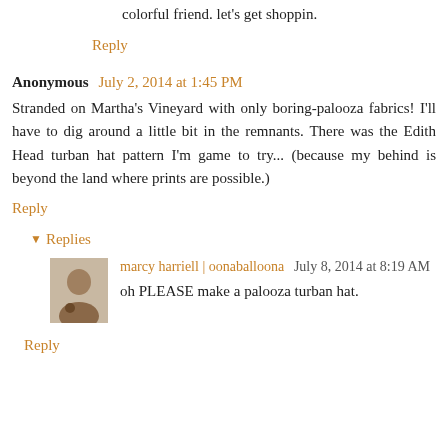colorful friend. let's get shoppin.
Reply
Anonymous  July 2, 2014 at 1:45 PM
Stranded on Martha's Vineyard with only boring-palooza fabrics! I'll have to dig around a little bit in the remnants. There was the Edith Head turban hat pattern I'm game to try... (because my behind is beyond the land where prints are possible.)
Reply
▼ Replies
marcy harriell | oonaballoona  July 8, 2014 at 8:19 AM
oh PLEASE make a palooza turban hat.
Reply